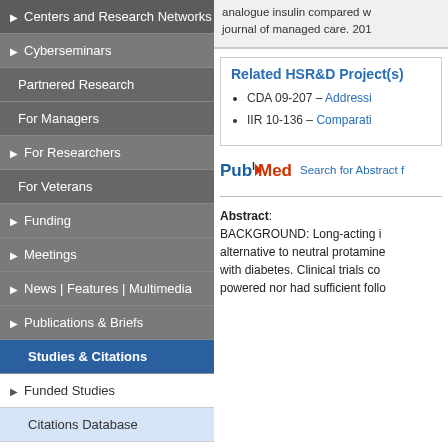Centers and Research Networks
▶ Cyberseminars
Partnered Research
For Managers
▶ For Researchers
For Veterans
▶ Funding
▶ Meetings
▶ News | Features | Multimedia
▶ Publications & Briefs
Studies & Citations
▶ Funded Studies
Citations Database
Search All Citations
analogue insulin compared w... journal of managed care. 201...
Related HSR&D Project(s)
CDA 09-207 – Addressi...
IIR 10-136 – Comparati...
[Figure (logo): PubMed logo with Search for Abstract link]
Abstract: BACKGROUND: Long-acting i... alternative to neutral protamine... with diabetes. Clinical trials co... powered nor had sufficient follo...